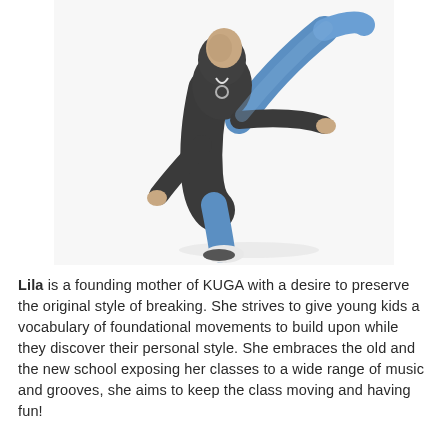[Figure (photo): A breakdancer performing a dynamic move, wearing a dark gray hoodie, blue jeans, and white sneakers, photographed against a white background. The dancer is balancing with one leg raised high.]
Lila is a founding mother of KUGA with a desire to preserve the original style of breaking. She strives to give young kids a vocabulary of foundational movements to build upon while they discover their personal style. She embraces the old and the new school exposing her classes to a wide range of music and grooves, she aims to keep the class moving and having fun!